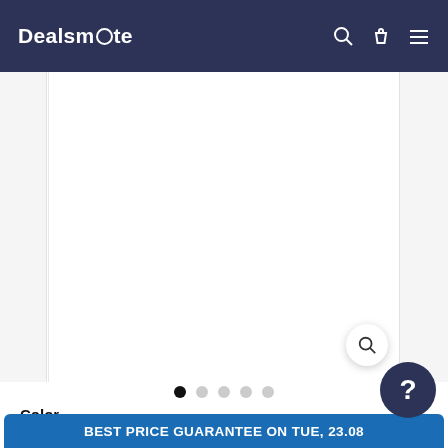Dealsmete
[Figure (screenshot): Product image carousel area with white main panel, left thumbnail strip, right thumbnail strip, and a zoom/magnify button in the bottom right of the main panel.]
[Figure (other): Carousel navigation dots: 5 dots, first one filled black (active), remaining four in light grey.]
Color
Silver
$49.00
BEST PRICE GUARANTEE on Tue, 23.08